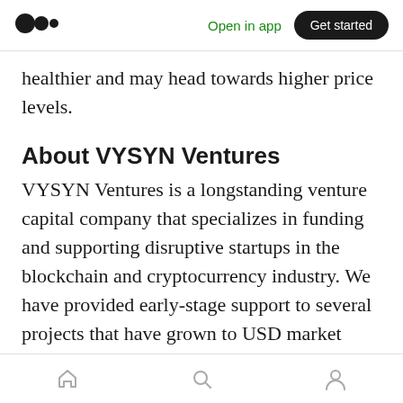Medium logo | Open in app | Get started
healthier and may head towards higher price levels.
About VYSYN Ventures
VYSYN Ventures is a longstanding venture capital company that specializes in funding and supporting disruptive startups in the blockchain and cryptocurrency industry. We have provided early-stage support to several projects that have grown to USD market capitalizations of hundreds of millions and even billions. Our incubation program focuses on providing capital
Home | Search | Profile